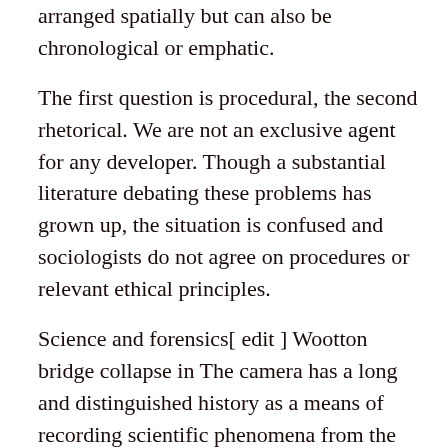arranged spatially but can also be chronological or emphatic.
The first question is procedural, the second rhetorical. We are not an exclusive agent for any developer. Though a substantial literature debating these problems has grown up, the situation is confused and sociologists do not agree on procedures or relevant ethical principles.
Science and forensics[ edit ] Wootton bridge collapse in The camera has a long and distinguished history as a means of recording scientific phenomena from the first use by Daguerre and Fox-Talbot, such as astronomical events eclipses for examplesmall creatures and plants when the camera was attached to the eyepiece of microscopes in photomicroscopy and for macro photography of larger specimens.
They become part of a mental collection available for